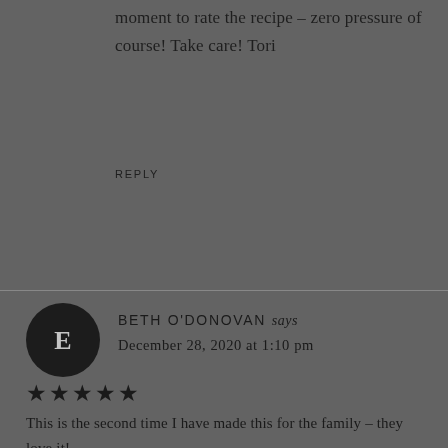moment to rate the recipe – zero pressure of course! Take care! Tori
REPLY
BETH O'DONOVAN says
December 28, 2020 at 1:10 pm
★★★★★
This is the second time I have made this for the family – they love it!
I add poultry seasoning, thyme and a little turmeric to the chicken before I add it to the pan.
Also really good with precooked rotisserie chicken